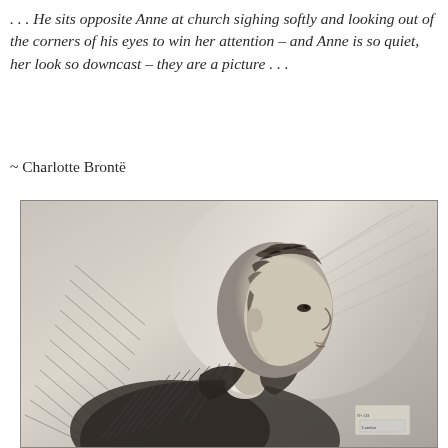. . . He sits opposite Anne at church sighing softly and looking out of the corners of his eyes to win her attention – and Anne is so quiet, her look so downcast – they are a picture . . .
~ Charlotte Brontë
[Figure (illustration): A pencil sketch portrait of a young man shown in three-quarter profile facing right, with curly hair, wearing a dark coat with a white collar. The drawing is done in a romantic early 19th-century style with cross-hatching shading.]